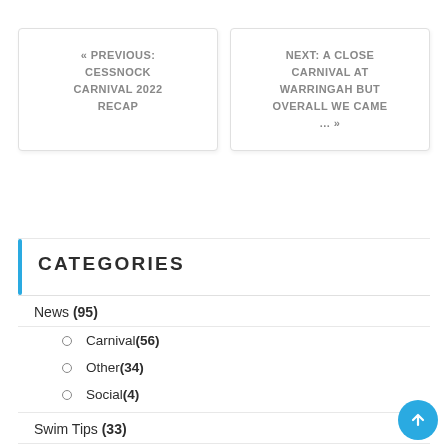« PREVIOUS: CESSNOCK CARNIVAL 2022 RECAP
NEXT: A CLOSE CARNIVAL AT WARRINGAH BUT OVERALL WE CAME … »
CATEGORIES
News (95)
Carnival (56)
Other (34)
Social (4)
Swim Tips (33)
Backstroke (2)